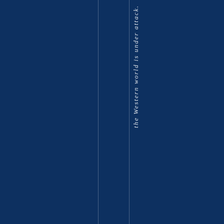the Western world is under attack.